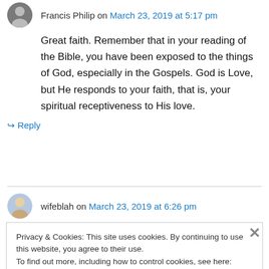Francis Philip on March 23, 2019 at 5:17 pm
Great faith. Remember that in your reading of the Bible, you have been exposed to the things of God, especially in the Gospels. God is Love, but He responds to your faith, that is, your spiritual receptiveness to His love.
↳ Reply
wifeblah on March 23, 2019 at 6:26 pm
Privacy & Cookies: This site uses cookies. By continuing to use this website, you agree to their use.
To find out more, including how to control cookies, see here: Cookie Policy
Close and accept